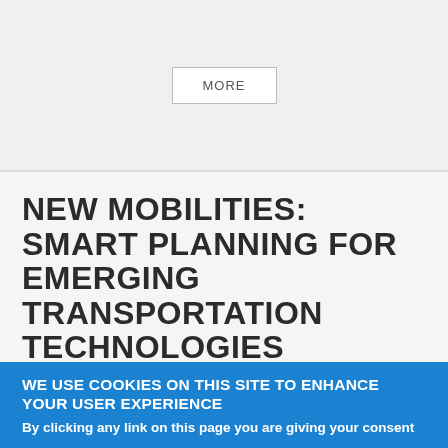[Figure (other): Top navigation/header bar with a MORE button]
NEW MOBILITIES: SMART PLANNING FOR EMERGING TRANSPORTATION TECHNOLOGIES
Type of content: Video
New transportation technologies can expand our world by an order of magnitude, but the significant benefits they provide are often counterbalanced by the huge costs that they impose
WE USE COOKIES ON THIS SITE TO ENHANCE YOUR USER EXPERIENCE
By clicking any link on this page you are giving your consent